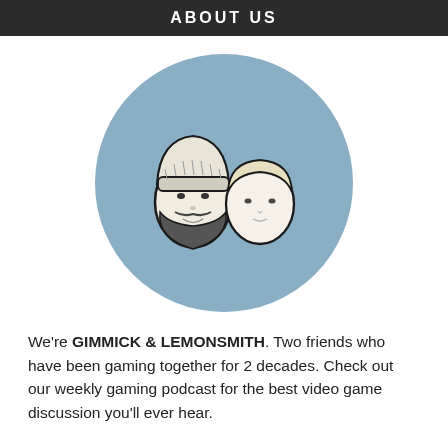ABOUT US
[Figure (illustration): Circular illustration with a light blue background showing two cartoon-style drawn heads side by side. The left character has a beanie hat and a beard. The right character has short blonde hair and a plain face.]
We're GIMMICK & LEMONSMITH. Two friends who have been gaming together for 2 decades. Check out our weekly gaming podcast for the best video game discussion you'll ever hear.